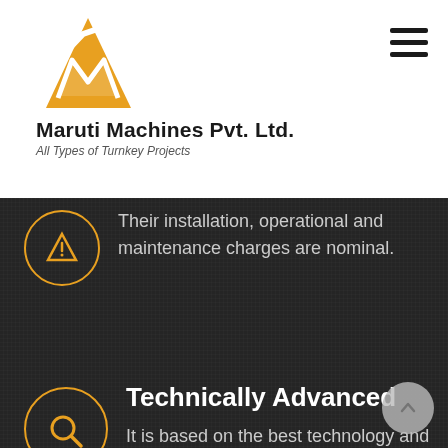[Figure (logo): Maruti Machines Pvt. Ltd. orange M logo with checkmark]
Maruti Machines Pvt. Ltd.
All Types of Turnkey Projects
Their installation, operational and maintenance charges are nominal.
Technically Advanced
It is based on the best technology and offers a maximum output to clients.
Our Products
Browse our complete product range and choose as per your process preferences.